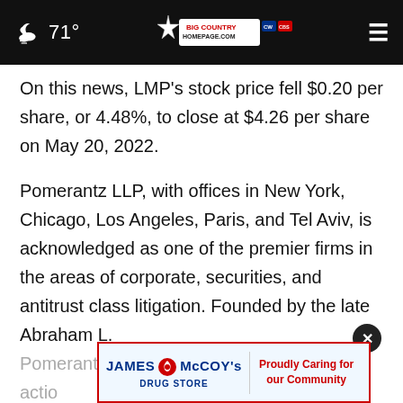71° Big Country Homepage
On this news, LMP's stock price fell $0.20 per share, or 4.48%, to close at $4.26 per share on May 20, 2022.
Pomerantz LLP, with offices in New York, Chicago, Los Angeles, Paris, and Tel Aviv, is acknowledged as one of the premier firms in the areas of corporate, securities, and antitrust class litigation. Founded by the late Abraham L. Pomerantz, known as the dean of the class action...
[Figure (other): James McCoy's Drug Store advertisement banner - Proudly Caring for our Community]